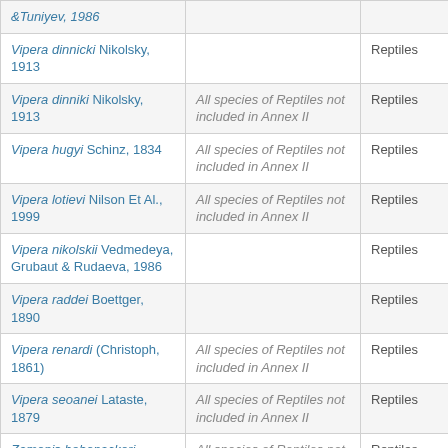| Species | Annex Note | Group |
| --- | --- | --- |
| &Tuniyev, 1986 |  |  |
| Vipera dinnicki Nikolsky, 1913 |  | Reptiles |
| Vipera dinniki Nikolsky, 1913 | All species of Reptiles not included in Annex II | Reptiles |
| Vipera hugyi Schinz, 1834 | All species of Reptiles not included in Annex II | Reptiles |
| Vipera lotievi Nilson Et Al., 1999 | All species of Reptiles not included in Annex II | Reptiles |
| Vipera nikolskii Vedmedeya, Grubaut & Rudaeva, 1986 |  | Reptiles |
| Vipera raddei Boettger, 1890 |  | Reptiles |
| Vipera renardi (Christoph, 1861) | All species of Reptiles not included in Annex II | Reptiles |
| Vipera seoanei Lataste, 1879 | All species of Reptiles not included in Annex II | Reptiles |
| Zamenis hohenackeri (Strauch, 1873) | All species of Reptiles not included in Annex II | Reptiles |